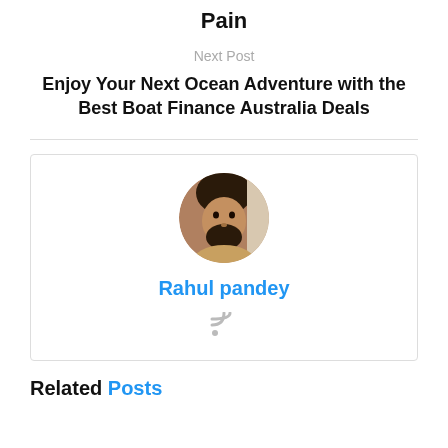Pain
Next Post
Enjoy Your Next Ocean Adventure with the Best Boat Finance Australia Deals
[Figure (photo): Circular avatar photo of a bearded man named Rahul pandey]
Rahul pandey
[Figure (other): RSS feed icon (wifi/signal symbol)]
Related Posts